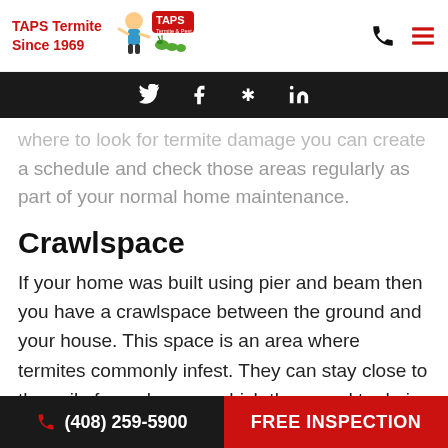TAPS Termite Since 1969
Social media nav: Twitter, Facebook, Yelp, LinkedIn
where to look for termite damage you can create a schedule and check those areas regularly as part of your normal home maintenance.
Crawlspace
If your home was built using pier and beam then you have a crawlspace between the ground and your house. This space is an area where termites commonly infest. They can stay close to the soil of your home – which they need to do in order to
(408) 259-5900  FREE INSPECTION